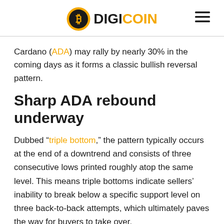DIGICOIN
Cardano (ADA) may rally by nearly 30% in the coming days as it forms a classic bullish reversal pattern.
Sharp ADA rebound underway
Dubbed "triple bottom," the pattern typically occurs at the end of a downtrend and consists of three consecutive lows printed roughly atop the same level. This means triple bottoms indicate sellers' inability to break below a specific support level on three back-to-back attempts, which ultimately paves the way for buyers to take over.
In a perfect scenario, the return of buyers to the market